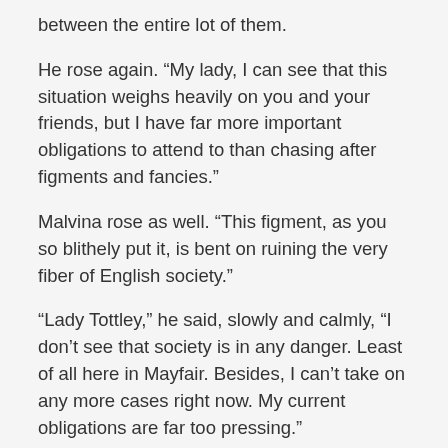between the entire lot of them.
He rose again. “My lady, I can see that this situation weighs heavily on you and your friends, but I have far more important obligations to attend to than chasing after figments and fancies.”
Malvina rose as well. “This figment, as you so blithely put it, is bent on ruining the very fiber of English society.”
“Lady Tottley,” he said, slowly and calmly, “I don’t see that society is in any danger. Least of all here in Mayfair. Besides, I can’t take on any more cases right now. My current obligations are far too pressing.”
“Yes, yes. Codlin’s misfortunate accident,” she said, waving her hand dismissively as if they were discussing what color gloves to wear not the most grisly murder